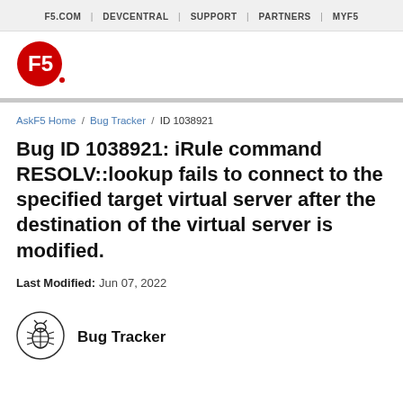F5.COM  |  DEVCENTRAL  |  SUPPORT  |  PARTNERS  |  MYF5
[Figure (logo): F5 logo — red circle with white F5 text]
AskF5 Home / Bug Tracker / ID 1038921
Bug ID 1038921: iRule command RESOLV::lookup fails to connect to the specified target virtual server after the destination of the virtual server is modified.
Last Modified: Jun 07, 2022
Bug Tracker